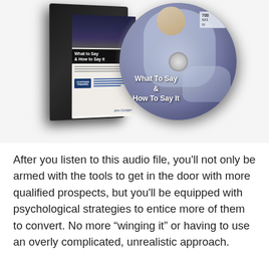[Figure (photo): A CD/DVD product image showing a black jewel case open with the disc partially ejected. The disc is labeled 'What To Say & How To Say It' with imagery of a speaker presenting to an audience. The case insert shows 'What to Say & How to Say It' branding with a Costigan Training logo.]
After you listen to this audio file, you'll not only be armed with the tools to get in the door with more qualified prospects, but you'll be equipped with psychological strategies to entice more of them to convert. No more “winging it” or having to use an overly complicated, unrealistic approach.